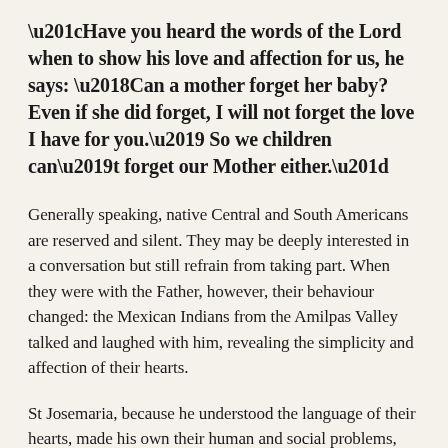“Have you heard the words of the Lord when to show his love and affection for us, he says: ‘Can a mother forget her baby? Even if she did forget, I will not forget the love I have for you.’ So we children can’t forget our Mother either.”
Generally speaking, native Central and South Americans are reserved and silent. They may be deeply interested in a conversation but still refrain from taking part. When they were with the Father, however, their behaviour changed: the Mexican Indians from the Amilpas Valley talked and laughed with him, revealing the simplicity and affection of their hearts.
St Josemaria, because he understood the language of their hearts, made his own their human and social problems, arising from the extreme poverty